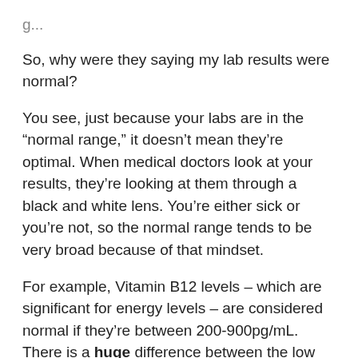So, why were they saying my lab results were normal?
You see, just because your labs are in the “normal range,” it doesn’t mean they’re optimal. When medical doctors look at your results, they’re looking at them through a black and white lens. You’re either sick or you’re not, so the normal range tends to be very broad because of that mindset.
For example, Vitamin B12 levels – which are significant for energy levels – are considered normal if they’re between 200-900pg/mL. There is a huge difference between the low and the high, but anyone that falls within that range is put under the same category.